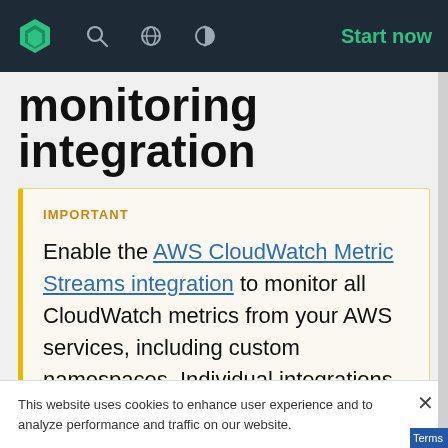monitoring integration — navigation bar with logo, search, globe, contrast icons and 'Start now' link
monitoring integration
IMPORTANT
Enable the AWS CloudWatch Metric Streams integration to monitor all CloudWatch metrics from your AWS services, including custom namespaces. Individual integrations are no longer our recommended option.
This website uses cookies to enhance user experience and to analyze performance and traffic on our website.